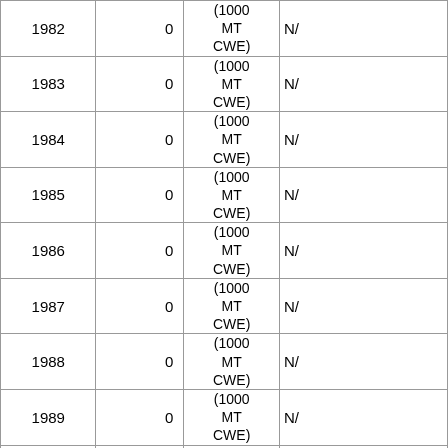| Year | Value | Unit |  |
| --- | --- | --- | --- |
| 1982 | 0 | (1000 MT CWE) | N/ |
| 1983 | 0 | (1000 MT CWE) | N/ |
| 1984 | 0 | (1000 MT CWE) | N/ |
| 1985 | 0 | (1000 MT CWE) | N/ |
| 1986 | 0 | (1000 MT CWE) | N/ |
| 1987 | 0 | (1000 MT CWE) | N/ |
| 1988 | 0 | (1000 MT CWE) | N/ |
| 1989 | 0 | (1000 MT CWE) | N/ |
| 1990 | 0 | (1000 MT CWE) | N/ |